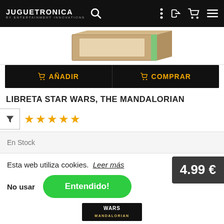JUGUETRONICA BY ENTERTAINMENT INNOVATIONS
[Figure (photo): Partial product image of LIBRETA STAR WARS THE MANDALORIAN notebook box, shown at an angle from above]
🛒 AÑADIR   🛒 COMPRAR
LIBRETA STAR WARS, THE MANDALORIAN
★★★★★ (5 stars)
En Stock
Esta web utiliza cookies. Leer más
4.99 €
No usar   Entendido!
[Figure (photo): Partial bottom view of Star Wars Mandalorian product packaging]